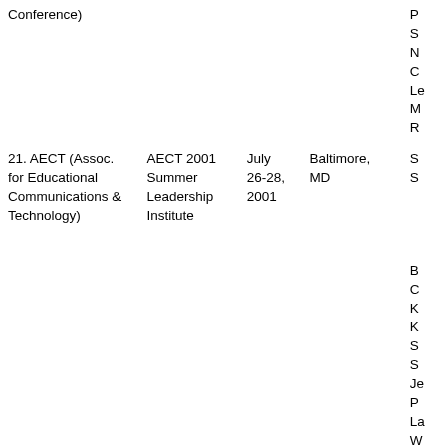| Organization | Conference/Meeting | Date | Location | Attendees |
| --- | --- | --- | --- | --- |
| Conference) |  |  |  | P
S
N
C
Le
M
R |
| 21. AECT (Assoc. for Educational Communications & Technology) | AECT 2001 Summer Leadership Institute | July 26-28, 2001 | Baltimore, MD | S
S |
|  |  |  |  | B
C
K
K
S
S
Je
P
La
W |
| 22. PT3 Grantees Meeting | PT3 Grantees Meeting 2001 | Aug. 2-5, 2001 | Washington, DC |  |